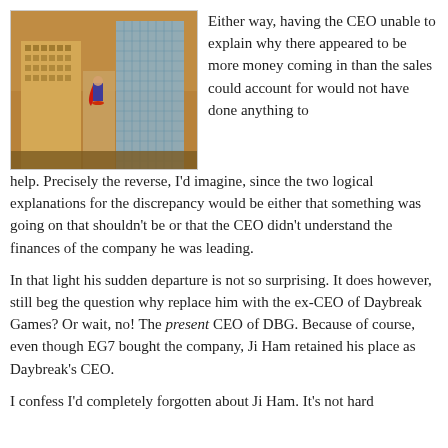[Figure (screenshot): A video game screenshot showing a superhero/character hovering above a city skyline with tall buildings in a brownish-orange atmospheric haze.]
Either way, having the CEO unable to explain why there appeared to be more money coming in than the sales could account for would not have done anything to help. Precisely the reverse, I'd imagine, since the two logical explanations for the discrepancy would be either that something was going on that shouldn't be or that the CEO didn't understand the finances of the company he was leading.
In that light his sudden departure is not so surprising. It does however, still beg the question why replace him with the ex-CEO of Daybreak Games? Or wait, no! The present CEO of DBG. Because of course, even though EG7 bought the company, Ji Ham retained his place as Daybreak's CEO.
I confess I'd completely forgotten about Ji Ham. It's not hard